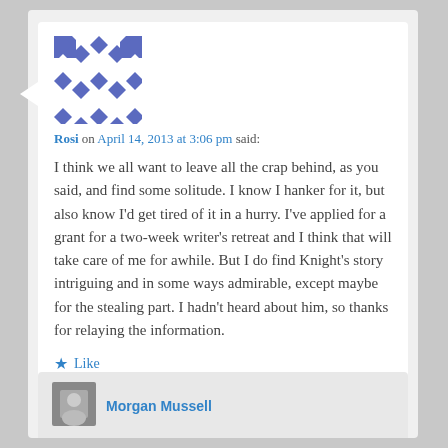[Figure (illustration): User avatar — blue/white diamond pattern (identicon)]
Rosi on April 14, 2013 at 3:06 pm said:
I think we all want to leave all the crap behind, as you said, and find some solitude. I know I hanker for it, but also know I'd get tired of it in a hurry. I've applied for a grant for a two-week writer's retreat and I think that will take care of me for awhile. But I do find Knight's story intriguing and in some ways admirable, except maybe for the stealing part. I hadn't heard about him, so thanks for relaying the information.
★ Like
Reply ↓
Morgan Mussell